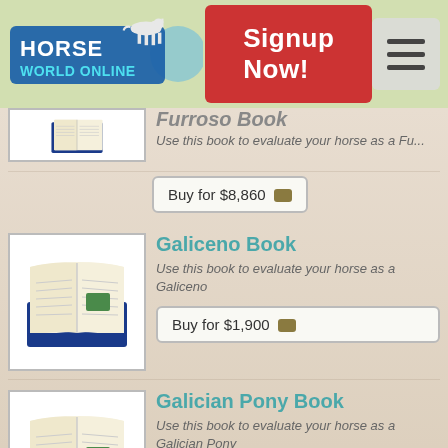[Figure (logo): Horse World Online logo with horse graphic]
Signup Now!
Furroso Book – Use this book to evaluate your horse as a Furroso
Buy for $8,860
Galiceno Book
Use this book to evaluate your horse as a Galiceno
Buy for $1,900
Galician Pony Book
Use this book to evaluate your horse as a Galician Pony
Help Me